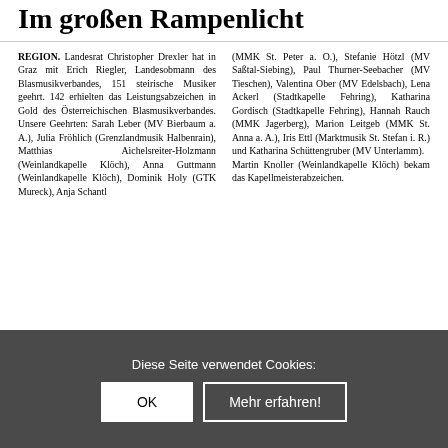Im großen Rampenlicht
REGION. Landesrat Christopher Drexler hat in Graz mit Erich Riegler, Landesobmann des Blasmusikverbandes, 151 steirische Musiker geehrt. 142 erhielten das Leistungsabzeichen in Gold des Österreichischen Blasmusikverbandes. Unsere Geehrten: Sarah Leber (MV Bierbaum a. A.), Julia Fröhlich (Grenzlandmusik Halbenrain), Matthias Aichelsreiter-Holzmann (Weinlandkapelle Klöch), Anna Guttmann (Weinlandkapelle Klöch), Dominik Holy (GTK Mureck), Anja Schantl (MMK St. Peter a. O.), Stefanie Hötzl (MV Saßtal-Siebing), Paul Thurner-Seebacher (MV Tieschen), Valentina Ober (MV Edelsbach), Lena Ackerl (Stadtkapelle Fehring), Katharina Gordisch (Stadtkapelle Fehring), Hannah Rauch (MMK Jagerberg), Marion Leitgeb (MMK St. Anna a. A.), Iris Ettl (Marktmusik St. Stefan i. R.) und Katharina Schüttengruber (MV Unterlamm). Martin Knoller (Weinlandkapelle Klöch) bekam das Kapellmeisterabzeichen.
Diese Seite verwendet Cookies: